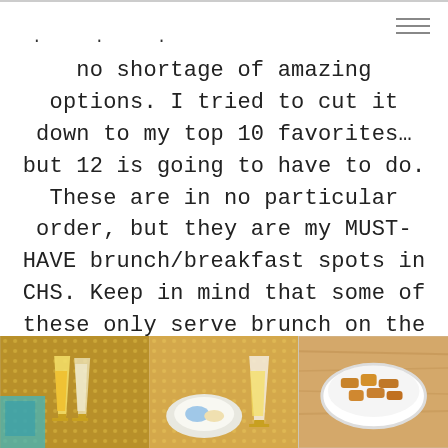· · ·
no shortage of amazing options. I tried to cut it down to my top 10 favorites… but 12 is going to have to do. These are in no particular order, but they are my MUST-HAVE brunch/breakfast spots in CHS. Keep in mind that some of these only serve brunch on the weekends (and some only on Sundays), so be sure to check the menu link:
[Figure (photo): Three food/brunch photos side by side: left shows mimosas with golden patterned backdrop, center shows brunch plate with a mimosa on patterned table, right shows fried food bites in a white bowl on a wood surface.]